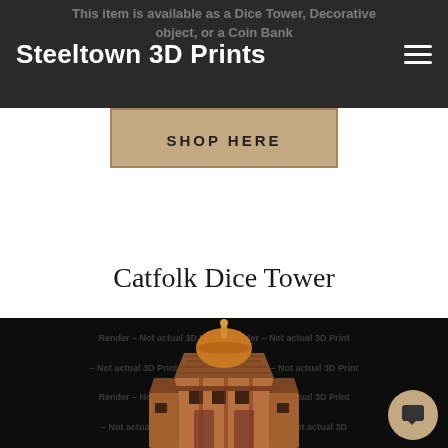Steeltown 3D Prints
This item is available as a Dice Tower, Decorative object, or a Coin Bank
SHOP HERE
Catfolk Dice Tower
[Figure (photo): 3D rendered image of a detailed fantasy-style Catfolk Dice Tower miniature with copper/terracotta coloring, featuring a domed roof with a small figurine on top, multi-story building with decorative architectural details, on a dark background. Watermark text overlaid: 'Render – Not actual 3D Print • Render – Not actual 3D Print – Not actual 3D Print – Not actual 3D Print']